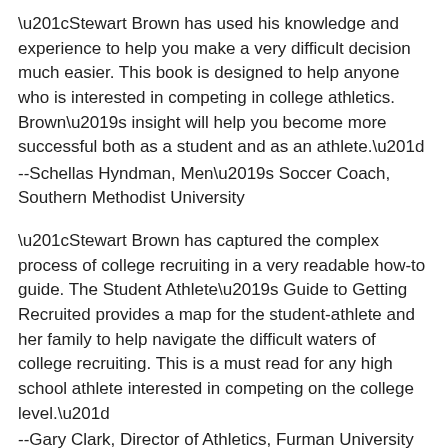“Stewart Brown has used his knowledge and experience to help you make a very difficult decision much easier. This book is designed to help anyone who is interested in competing in college athletics. Brown’s insight will help you become more successful both as a student and as an athlete.”
--Schellas Hyndman, Men’s Soccer Coach, Southern Methodist University
“Stewart Brown has captured the complex process of college recruiting in a very readable how-to guide. The Student Athlete’s Guide to Getting Recruited provides a map for the student-athlete and her family to help navigate the difficult waters of college recruiting. This is a must read for any high school athlete interested in competing on the college level.”
--Gary Clark, Director of Athletics, Furman University
“Stewart Brown has used his knowledge as a college and high school coach to give outstanding advice to high school athletes wanting to play college sports. Any high school athlete aspiring to play college sports will benefit from reading this book.”
--Randy Allen, Athletic Director and Head Football Coach, Highland